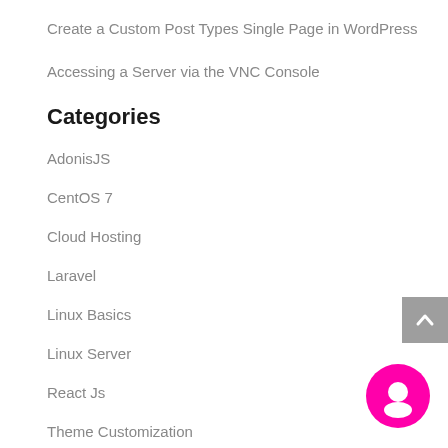Create a Custom Post Types Single Page in WordPress
Accessing a Server via the VNC Console
Categories
AdonisJS
CentOS 7
Cloud Hosting
Laravel
Linux Basics
Linux Server
React Js
Theme Customization
Virtualization
VPS Servers
Web Hosting